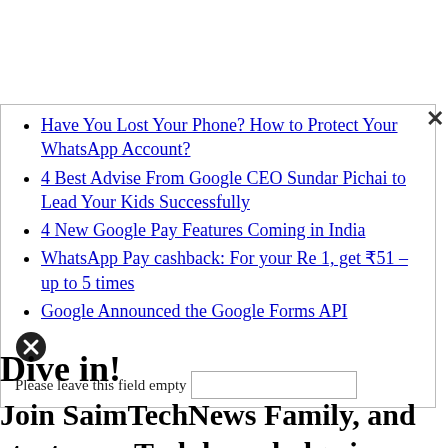Have You Lost Your Phone? How to Protect Your WhatsApp Account?
4 Best Advise From Google CEO Sundar Pichai to Lead Your Kids Successfully
4 New Google Pay Features Coming in India
WhatsApp Pay cashback: For your Re 1, get ₹51 – up to 5 times
Google Announced the Google Forms API
Please leave this field empty
Dive in!
Join SaimTechNews Family, and start your Tech knwoladge journey with us today.